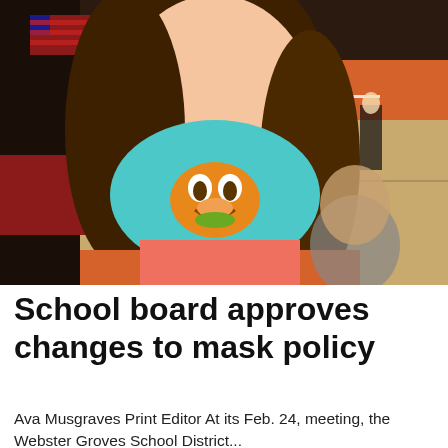[Figure (photo): A young woman wearing a light blue Garfield face mask stands in a school gymnasium. She has long brown hair and is wearing an orange jersey. In the background, volleyball players are visible on the court, with orange gymnasium walls, an American flag, and gym equipment visible.]
School board approves changes to mask policy
Ava Musgraves Print Editor At its Feb. 24, meeting, the Webster Groves School District...